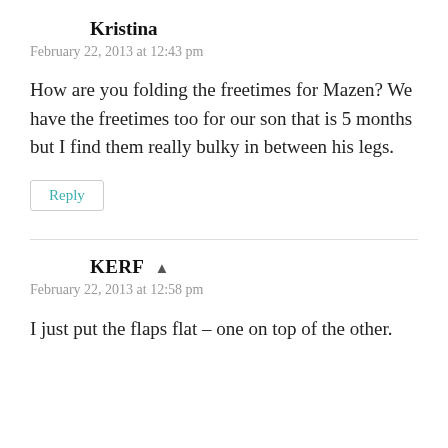Kristina
February 22, 2013 at 12:43 pm
How are you folding the freetimes for Mazen? We have the freetimes too for our son that is 5 months but I find them really bulky in between his legs.
Reply
KERF
February 22, 2013 at 12:58 pm
I just put the flaps flat – one on top of the other.